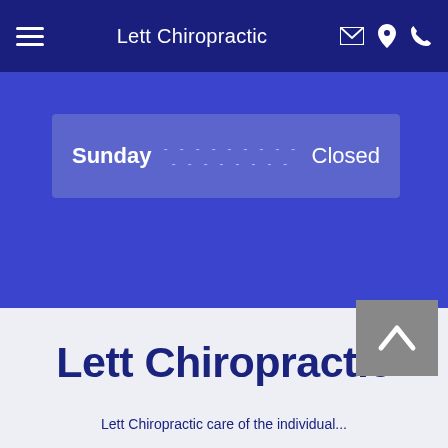Lett Chiropractic
| Day |  | Status |
| --- | --- | --- |
| Sunday | ----------------------------- | Closed |
Lett Chiropractic
Lett Chiropractic care of the individual...